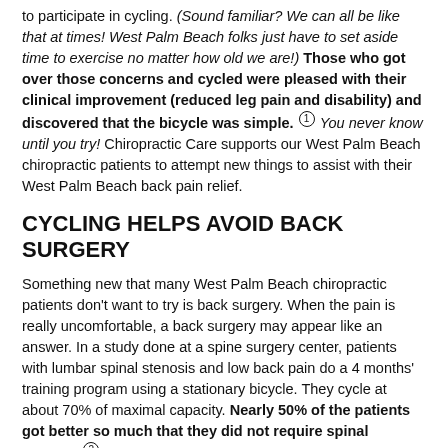to participate in cycling. (Sound familiar? We can all be like that at times! West Palm Beach folks just have to set aside time to exercise no matter how old we are!) Those who got over those concerns and cycled were pleased with their clinical improvement (reduced leg pain and disability) and discovered that the bicycle was simple. (1) You never know until you try! Chiropractic Care supports our West Palm Beach chiropractic patients to attempt new things to assist with their West Palm Beach back pain relief.
CYCLING HELPS AVOID BACK SURGERY
Something new that many West Palm Beach chiropractic patients don't want to try is back surgery. When the pain is really uncomfortable, a back surgery may appear like an answer. In a study done at a spine surgery center, patients with lumbar spinal stenosis and low back pain do a 4 months' training program using a stationary bicycle. They cycle at about 70% of maximal capacity. Nearly 50% of the patients got better so much that they did not require spinal surgery. (2) Now that is a benefit West Palm Beach lumbar spinal stenosis patients want!